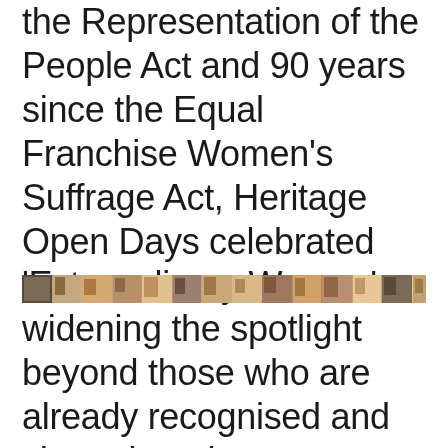the Representation of the People Act and 90 years since the Equal Franchise Women's Suffrage Act, Heritage Open Days celebrated 'Extraordinary Women' - widening the spotlight beyond those who are already recognised and championed.
[Figure (photo): A horizontal strip of photographs showing various women, forming a collage banner.]